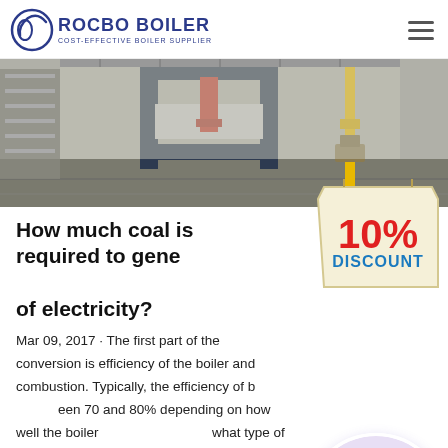ROCBO BOILER - COST-EFFECTIVE BOILER SUPPLIER
[Figure (photo): Industrial boiler/hydraulic press equipment in a factory setting, with metal frames and yellow pipe visible]
How much coal is required to generate 1 MWh of electricity?
[Figure (other): 10% DISCOUNT badge/tag in red and blue on a cream background]
Mar 09, 2017 · The first part of the conversion is efficiency of the boiler and combustion. Typically, the efficiency of boiler is between 70 and 80% depending on how well the boiler is maintained and what type of boiler it is. processing the various
[Figure (photo): Customer service agent woman wearing a headset, smiling, in a circular photo frame]
Get Price